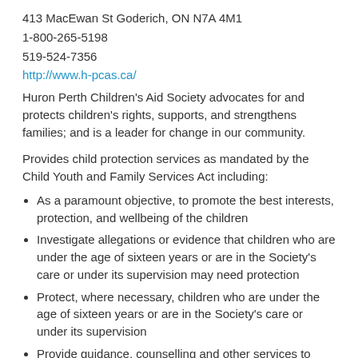413 MacEwan St Goderich, ON N7A 4M1
1-800-265-5198
519-524-7356
http://www.h-pcas.ca/
Huron Perth Children's Aid Society advocates for and protects children's rights, supports, and strengthens families; and is a leader for change in our community.
Provides child protection services as mandated by the Child Youth and Family Services Act including:
As a paramount objective, to promote the best interests, protection, and wellbeing of the children
Investigate allegations or evidence that children who are under the age of sixteen years or are in the Society's care or under its supervision may need protection
Protect, where necessary, children who are under the age of sixteen years or are in the Society's care or under its supervision
Provide guidance, counselling and other services to families for protecting children or for the prevention of circumstances requiring the protection of children